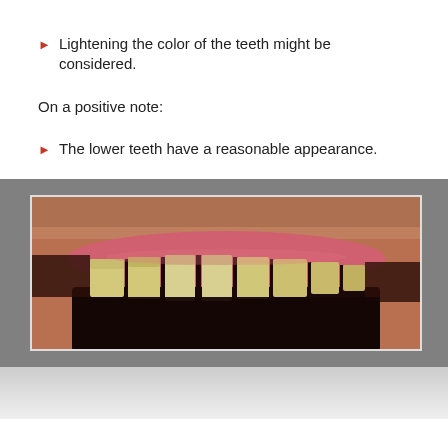Lightening the color of the teeth might be considered.
On a positive note:
The lower teeth have a reasonable appearance.
[Figure (photo): Close-up photograph of a person's upper teeth, showing yellowish teeth with visible gaps, set against pink gum tissue and facial skin above.]